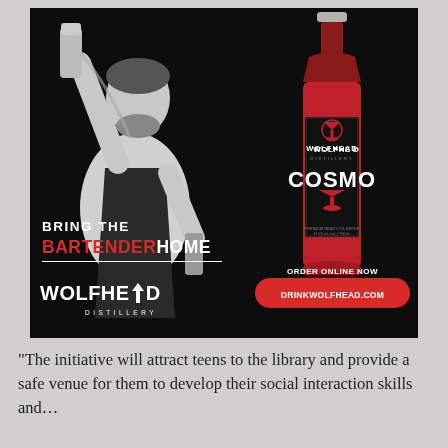[Figure (photo): Wolfhead Distillery advertisement. Black background with a bartender in black-and-white pouring from a shaker on the left, and a red Wolfhead Cosmo bottle on the right. Text overlay reads: 'BRING THE BARTENDER HOME' with Wolfhead Distillery logo. Bottom right shows 'ORDER ONLINE NOW' with red button 'DRINKWOLFHEAD.COM'.]
“The initiative will attract teens to the library and provide a safe venue for them to develop their social interaction skills and…